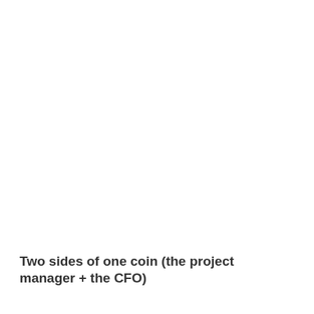Two sides of one coin (the project manager + the CFO)